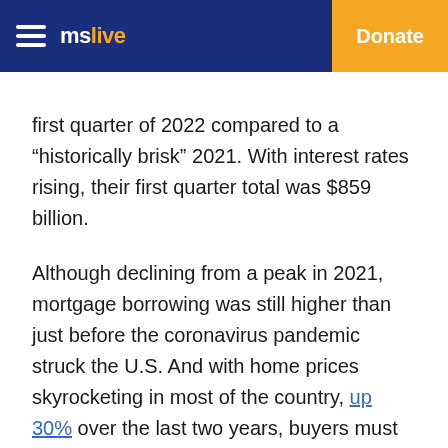mslive | Donate
first quarter of 2022 compared to a “historically brisk” 2021. With interest rates rising, their first quarter total was $859 billion.
Although declining from a peak in 2021, mortgage borrowing was still higher than just before the coronavirus pandemic struck the U.S. And with home prices skyrocketing in most of the country, up 30% over the last two years, buyers must borrow more to finance their homes.